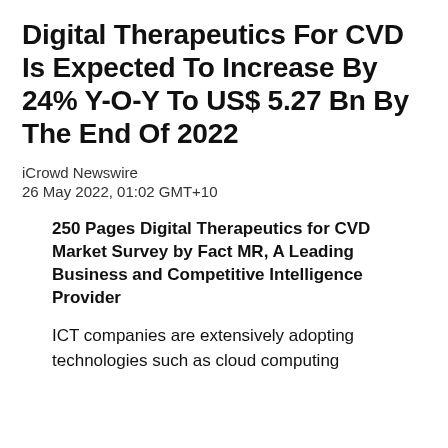Digital Therapeutics For CVD Is Expected To Increase By 24% Y-O-Y To US$ 5.27 Bn By The End Of 2022
iCrowd Newswire
26 May 2022, 01:02 GMT+10
250 Pages Digital Therapeutics for CVD Market Survey by Fact MR, A Leading Business and Competitive Intelligence Provider
ICT companies are extensively adopting technologies such as cloud computing